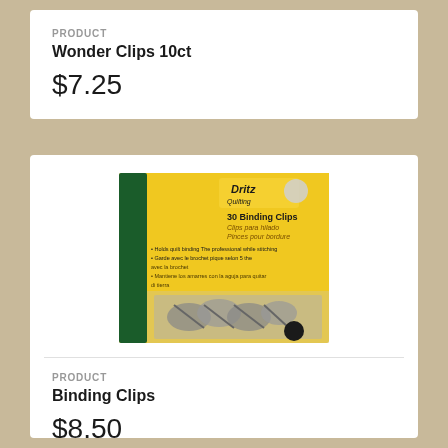PRODUCT
Wonder Clips 10ct
$7.25
[Figure (photo): Package of Dritz Quilting 30 Binding Clips on a yellow card with green stripe, showing silver metal binding clips]
PRODUCT
Binding Clips
$8.50